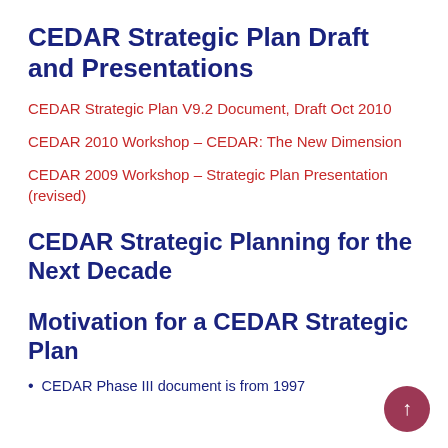CEDAR Strategic Plan Draft and Presentations
CEDAR Strategic Plan V9.2 Document, Draft Oct 2010
CEDAR 2010 Workshop – CEDAR: The New Dimension
CEDAR 2009 Workshop – Strategic Plan Presentation (revised)
CEDAR Strategic Planning for the Next Decade
Motivation for a CEDAR Strategic Plan
CEDAR Phase III document is from 1997